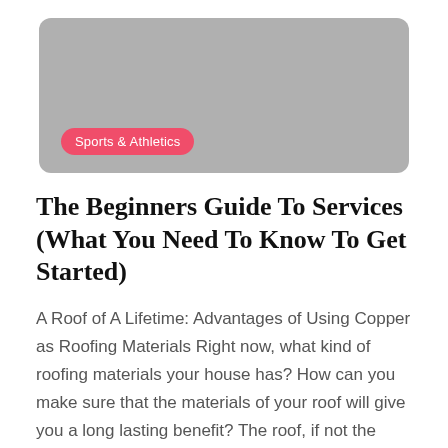[Figure (photo): Gray rounded rectangle placeholder image with a pink 'Sports & Athletics' category badge in the lower left]
The Beginners Guide To Services (What You Need To Know To Get Started)
A Roof of A Lifetime: Advantages of Using Copper as Roofing Materials Right now, what kind of roofing materials your house has? How can you make sure that the materials of your roof will give you a long lasting benefit? The roof, if not the most, is one of the